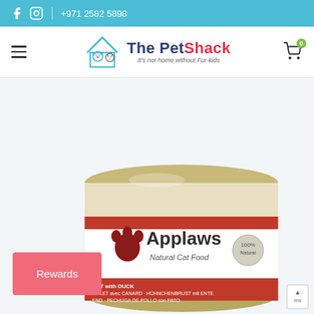Facebook Instagram +971 2582 5898
[Figure (logo): The PetShack logo with house icon and tagline 'It's not home without Fur-kids']
[Figure (photo): Applaws Natural Cat Food can - chicken breast with duck flavor, showing multilingual label text]
Rewards
AST with DUCK / OULET avec CANARD · HÜHNCHENBRUST mit ENTE / END · PECHUGA DE POLLO con PATO